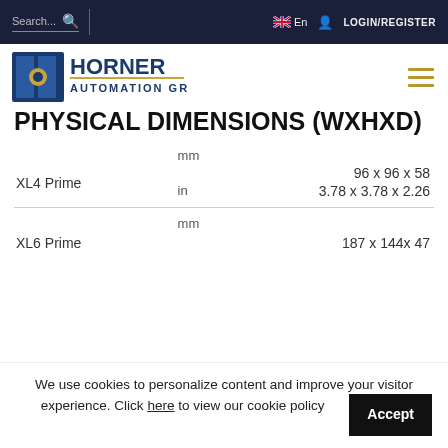Search... [search icon] | [UK flag] En [user icon] LOGIN/REGISTER
[Figure (logo): Horner Automation Group logo with blue panel and gold circle design]
PHYSICAL DIMENSIONS (WXHXD)
| Product | Unit | Dimensions |
| --- | --- | --- |
| XL4 Prime | mm | 96 x 96 x 58 |
| XL4 Prime | in | 3.78 x 3.78 x 2.26 |
| XL6 Prime | mm | 187 x 144x 47 |
We use cookies to personalize content and improve your visitor experience. Click here to view our cookie policy
Accept